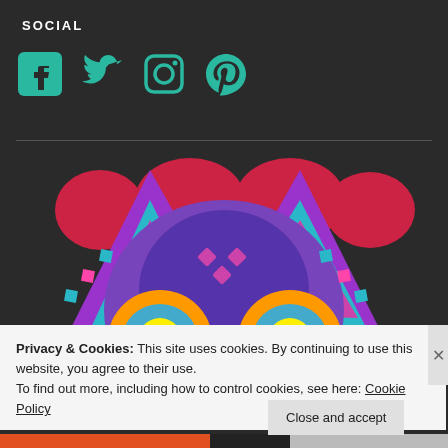SOCIAL
[Figure (illustration): Social media icons: Facebook, Twitter, Instagram, Pinterest in teal/green color on dark background]
[Figure (illustration): Colorful ornate cat/owl face illustration peeking up from bottom, with vibrant colors including pink, purple, teal, orange and yellow eyes]
Privacy & Cookies: This site uses cookies. By continuing to use this website, you agree to their use.
To find out more, including how to control cookies, see here: Cookie Policy
Close and accept